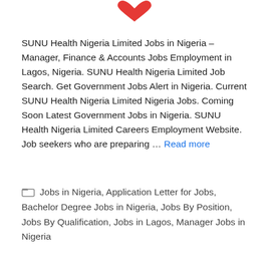[Figure (logo): Red heart/logo icon at top center of page]
SUNU Health Nigeria Limited Jobs in Nigeria – Manager, Finance & Accounts Jobs Employment in Lagos, Nigeria. SUNU Health Nigeria Limited Job Search. Get Government Jobs Alert in Nigeria. Current SUNU Health Nigeria Limited Nigeria Jobs. Coming Soon Latest Government Jobs in Nigeria. SUNU Health Nigeria Limited Careers Employment Website. Job seekers who are preparing ... Read more
Jobs in Nigeria, Application Letter for Jobs, Bachelor Degree Jobs in Nigeria, Jobs By Position, Jobs By Qualification, Jobs in Lagos, Manager Jobs in Nigeria